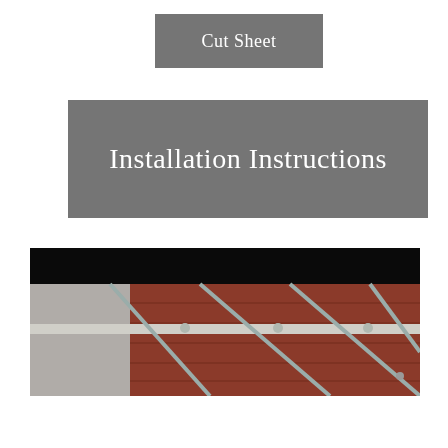Cut Sheet
Installation Instructions
[Figure (photo): Product installation photo showing metal cable or rod fencing hardware attached to a dark reddish-brown wooden surface, with a black background at the top.]
$83.92
-
1
+
Add to Cart